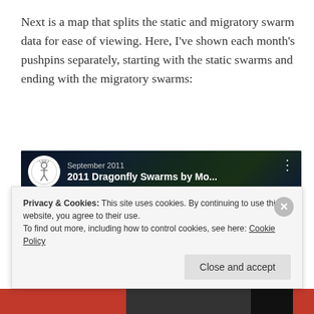Next is a map that splits the static and migratory swarm data for ease of viewing. Here, I've shown each month's pushpins separately, starting with the static swarms and ending with the migratory swarms:
[Figure (screenshot): YouTube video thumbnail showing '2011 Dragonfly Swarms by Mo...' with a Google Earth map view of North America covered in green dots representing dragonfly swarms. The video is dated September 2011 and shows a red YouTube play button in the center.]
Privacy & Cookies: This site uses cookies. By continuing to use this website, you agree to their use.
To find out more, including how to control cookies, see here: Cookie Policy